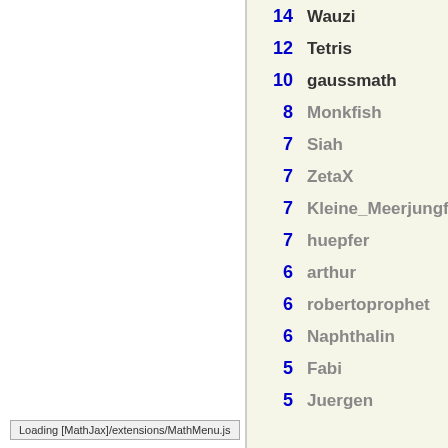14  Wauzi
12  Tetris
10  gaussmath
8  Monkfish
7  Siah
7  ZetaX
7  Kleine_Meerjungfrau
7  huepfer
6  arthur
6  robertoprophet
6  Naphthalin
5  Fabi
5  Juergen
Loading [MathJax]/extensions/MathMenu.js